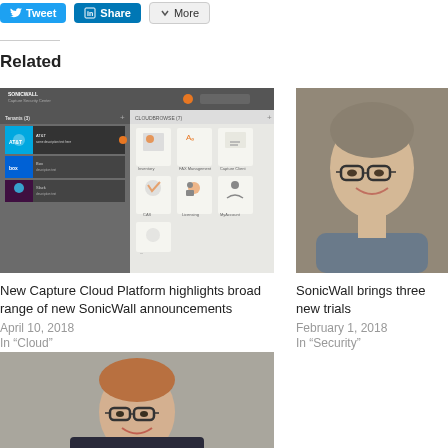[Figure (screenshot): Social share buttons: Tweet, Share (LinkedIn), More]
Related
[Figure (screenshot): SonicWall Capture Cloud Platform dashboard screenshot showing tenants and cloud browse panels with icons]
New Capture Cloud Platform highlights broad range of new SonicWall announcements
April 10, 2018
In "Cloud"
[Figure (photo): Photo of a smiling man with glasses and grey hair wearing a blue/grey jacket]
SonicWall brings three new trials
February 1, 2018
In "Security"
[Figure (photo): Photo of a smiling man with glasses and reddish-blonde hair wearing a suit]